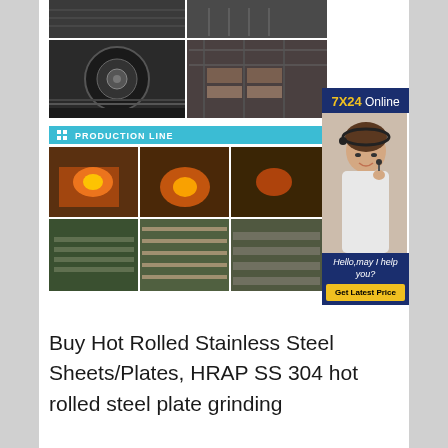[Figure (photo): Grid of steel product photos showing coils, plates, and warehouse storage at top of page]
[Figure (photo): Production line banner with icon and label 'PRODUCTION LINE' in cyan/teal color]
[Figure (photo): Six production line photos showing furnaces, hot rolling, and manufacturing processes in 2x3 grid]
[Figure (photo): 7X24 Online service sidebar with customer service representative photo, greeting text 'Hello,may I help you?' and 'Get Latest Price' button]
Buy Hot Rolled Stainless Steel Sheets/Plates, HRAP SS 304 hot rolled steel plate grinding